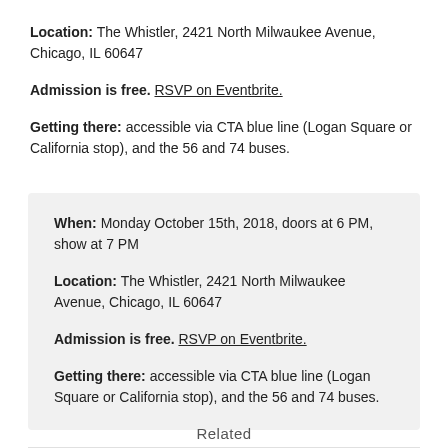Location: The Whistler, 2421 North Milwaukee Avenue, Chicago, IL 60647
Admission is free. RSVP on Eventbrite.
Getting there: accessible via CTA blue line (Logan Square or California stop), and the 56 and 74 buses.
When: Monday October 15th, 2018, doors at 6 PM, show at 7 PM
Location: The Whistler, 2421 North Milwaukee Avenue, Chicago, IL 60647
Admission is free. RSVP on Eventbrite.
Getting there: accessible via CTA blue line (Logan Square or California stop), and the 56 and 74 buses.
Related